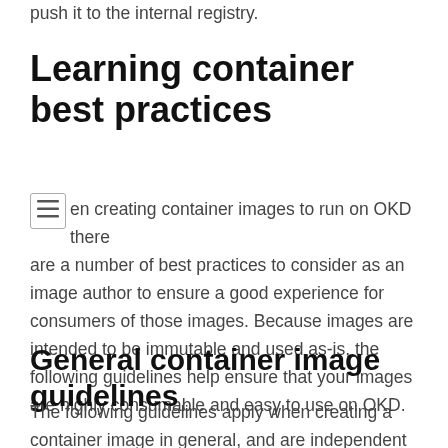push it to the internal registry.
Learning container best practices
When creating container images to run on OKD there are a number of best practices to consider as an image author to ensure a good experience for consumers of those images. Because images are intended to be immutable and used as-is, the following guidelines help ensure that your images are highly consumable and easy to use on OKD.
General container image guidelines
The following guidelines apply when creating a container image in general, and are independent of